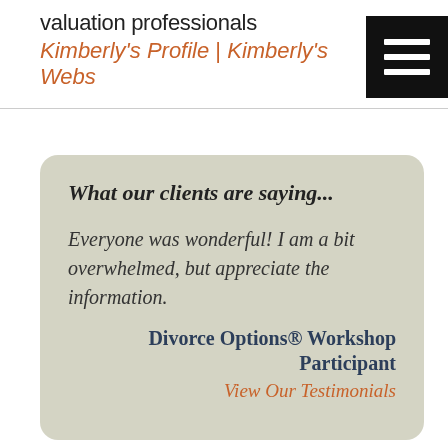valuation professionals
Kimberly's Profile | Kimberly's Webs
[Figure (other): Hamburger menu icon — black square with three white horizontal lines]
What our clients are saying...
Everyone was wonderful! I am a bit overwhelmed, but appreciate the information.
Divorce Options® Workshop Participant
View Our Testimonials